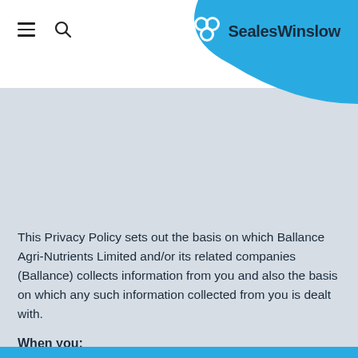[Figure (logo): SealesWinslow logo with blue curved background in top-right corner, white chain-link style icon and SealesWinslow text in dark navy]
This Privacy Policy sets out the basis on which Ballance Agri-Nutrients Limited and/or its related companies (Ballance) collects information from you and also the basis on which any such information collected from you is dealt with.
When you: